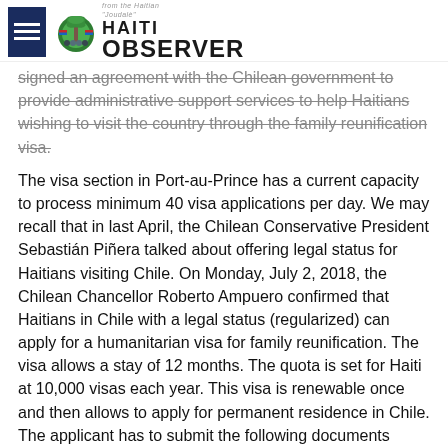Haiti Observer
signed an agreement with the Chilean government to provide administrative support services to help Haitians wishing to visit the country through the family reunification visa.
The visa section in Port-au-Prince has a current capacity to process minimum 40 visa applications per day. We may recall that in last April, the Chilean Conservative President Sebastián Piñera talked about offering legal status for Haitians visiting Chile. On Monday, July 2, 2018, the Chilean Chancellor Roberto Ampuero confirmed that Haitians in Chile with a legal status (regularized) can apply for a humanitarian visa for family reunification. The visa allows a stay of 12 months. The quota is set for Haiti at 10,000 visas each year. This visa is renewable once and then allows to apply for permanent residence in Chile. The applicant has to submit the following documents along with his/her visa application: an extract of criminal record and a medical certificate ensuring that the applicant does not carry any infectious diseases (many diseases present in Haiti have